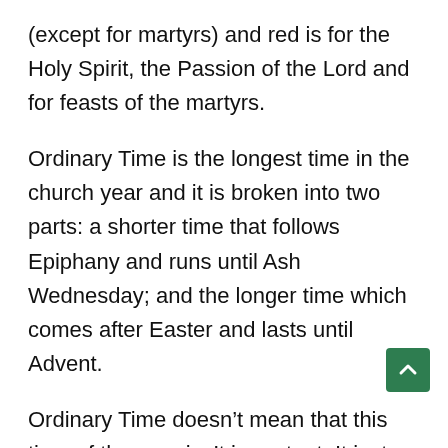(except for martyrs) and red is for the Holy Spirit, the Passion of the Lord and for feasts of the martyrs.
Ordinary Time is the longest time in the church year and it is broken into two parts: a shorter time that follows Epiphany and runs until Ash Wednesday; and the longer time which comes after Easter and lasts until Advent.
Ordinary Time doesn’t mean that this time of the year isn’t important. It just means that it’s not part of a big season, like Christmas, Lent or Easter. “Ordinary Time” is called “ordinary” because of it Latin root word: ordinalis, which means “ordered”